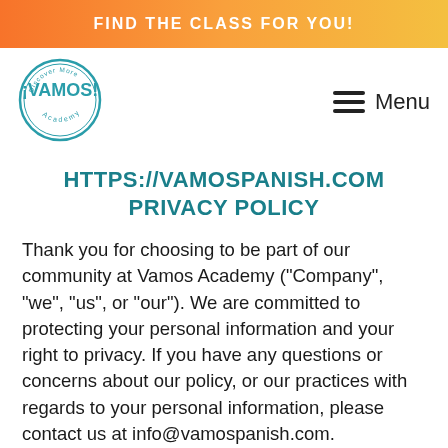FIND THE CLASS FOR YOU!
[Figure (logo): Vamos Academy circular logo with text 'Discover More ¡VAMOS! Academy']
Menu
HTTPS://VAMOSPANISH.COM PRIVACY POLICY
Thank you for choosing to be part of our community at Vamos Academy ("Company", "we", "us", or "our"). We are committed to protecting your personal information and your right to privacy. If you have any questions or concerns about our policy, or our practices with regards to your personal information, please contact us at info@vamospanish.com.